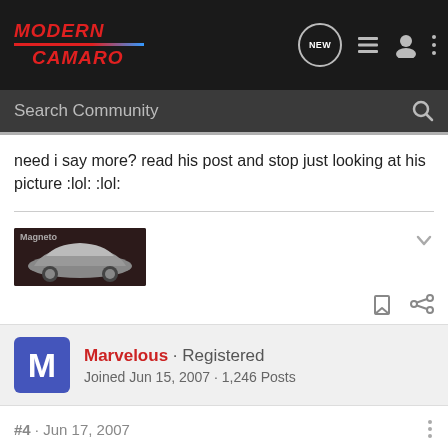[Figure (screenshot): Modern Camaro forum navigation bar with logo, NEW bubble icon, list icon, user icon, and three-dot menu]
Search Community
need i say more? read his post and stop just looking at his picture :lol: :lol:
[Figure (photo): Forum user avatar image showing a silver Camaro concept car on dark background with 'Magneto' watermark]
Marvelous · Registered
Joined Jun 15, 2007 · 1,246 Posts
#4 · Jun 17, 2007